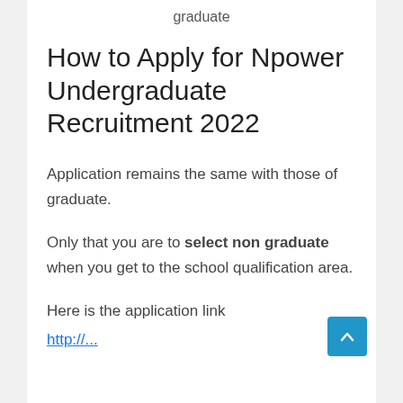graduate
How to Apply for Npower Undergraduate Recruitment 2022
Application remains the same with those of graduate.
Only that you are to select non graduate when you get to the school qualification area.
Here is the application link
http://...